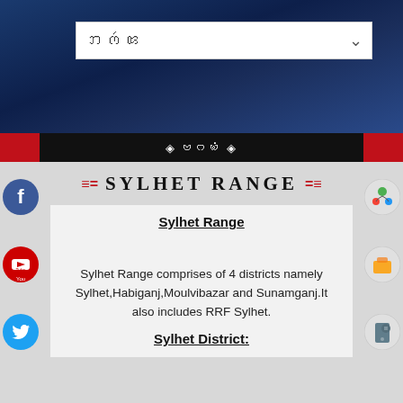𑄃𑄇𑄧𑄢 ▾
◈ 𑄝𑄉𑄟𑄁 ◈
≡ Sylhet Range ≡
Sylhet Range
Sylhet Range comprises of 4 districts namely Sylhet,Habiganj,Moulvibazar and Sunamganj.It also includes RRF Sylhet.
Sylhet District: